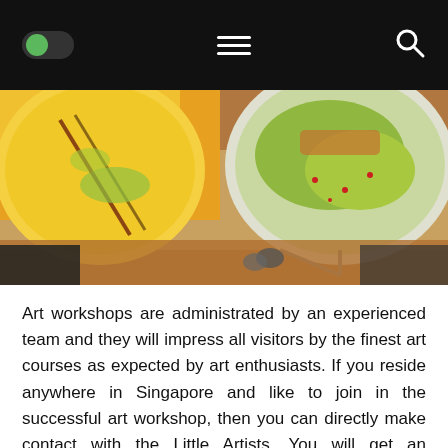[Navigation bar with toggle switch, hamburger menu, and search icon]
[Figure (photo): Photo of circular art canvases on a wooden table with colorful painted designs in yellow, green, and orange tones]
Art workshops are administrated by an experienced team and they will impress all visitors by the finest art courses as expected by art enthusiasts. If you reside anywhere in Singapore and like to join in the successful art workshop, then you can directly make contact with the Little Artists. You will get an outstanding guidance on time and make certain how to successfully choose and join in the art workshop. This popular art workshop singapore has happy